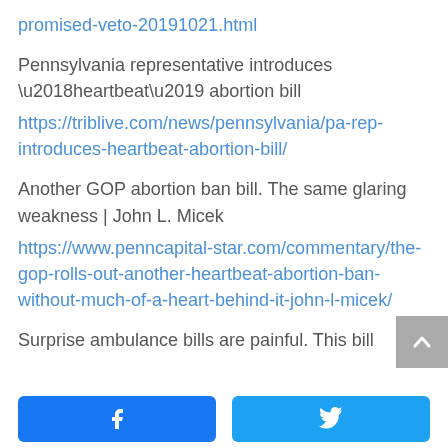promised-veto-20191021.html
Pennsylvania representative introduces ‘heartbeat’ abortion bill
https://triblive.com/news/pennsylvania/pa-rep-introduces-heartbeat-abortion-bill/
Another GOP abortion ban bill. The same glaring weakness | John L. Micek
https://www.penncapital-star.com/commentary/the-gop-rolls-out-another-heartbeat-abortion-ban-without-much-of-a-heart-behind-it-john-l-micek/
Surprise ambulance bills are painful. This bill